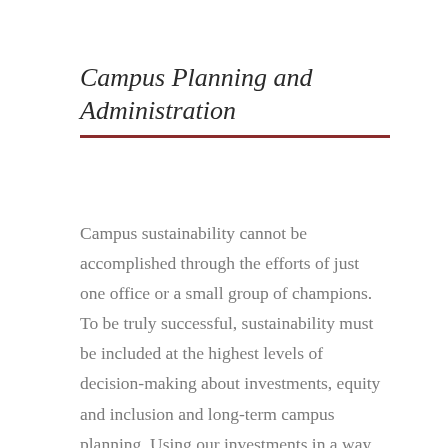Campus Planning and Administration
Campus sustainability cannot be accomplished through the efforts of just one office or a small group of champions. To be truly successful, sustainability must be included at the highest levels of decision-making about investments, equity and inclusion and long-term campus planning. Using our investments in a way